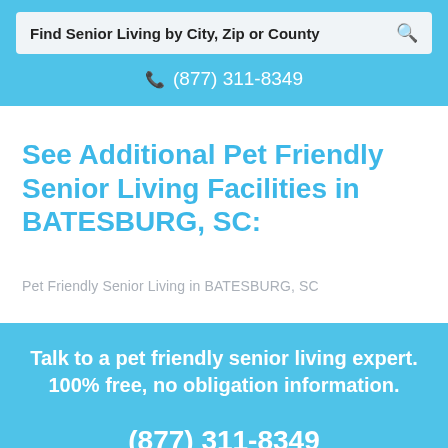Find Senior Living by City, Zip or County
(877) 311-8349
See Additional Pet Friendly Senior Living Facilities in BATESBURG, SC:
Pet Friendly Senior Living in BATESBURG, SC
Talk to a pet friendly senior living expert. 100% free, no obligation information.
(877) 311-8349